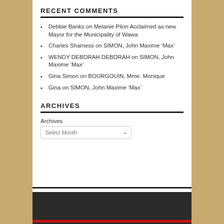RECENT COMMENTS
Debbie Banks on Melanie Pilon Acclaimed as new Mayor for the Municipality of Wawa
Charles Shamess on SIMON, John Maxime ‘Max’
WENDY DEBORAH DEBORAH on SIMON, John Maxime ‘Max’
Gina Simon on BOURGOUIN, Mme. Monique
Gina on SIMON, John Maxime ‘Max’
ARCHIVES
Archives
Select Month